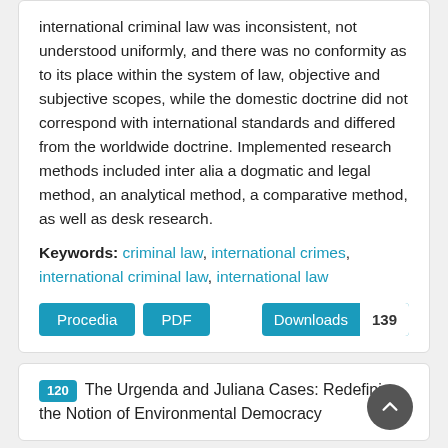international criminal law was inconsistent, not understood uniformly, and there was no conformity as to its place within the system of law, objective and subjective scopes, while the domestic doctrine did not correspond with international standards and differed from the worldwide doctrine. Implemented research methods included inter alia a dogmatic and legal method, an analytical method, a comparative method, as well as desk research.
Keywords: criminal law, international crimes, international criminal law, international law
Procedia  PDF  Downloads 139
120 The Urgenda and Juliana Cases: Redefining the Notion of Environmental Democracy